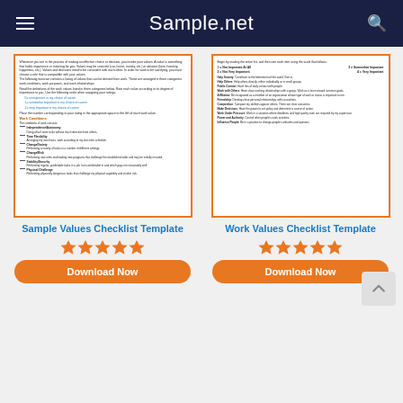Sample.net
[Figure (screenshot): Sample Values Checklist Template document preview]
[Figure (screenshot): Work Values Checklist Template document preview]
Sample Values Checklist Template
Work Values Checklist Template
Download Now
Download Now